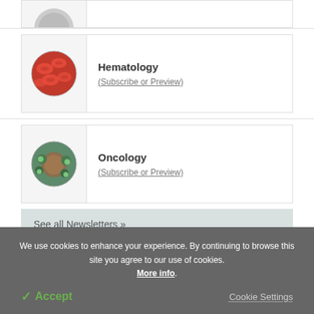[Figure (illustration): Partial cropped circular medical illustration at top of page]
[Figure (illustration): Circular illustration of red blood cells for Hematology newsletter]
Hematology
(Subscribe or Preview)
[Figure (illustration): Circular illustration of cancer cells with virus-like particles for Oncology newsletter]
Oncology
(Subscribe or Preview)
See all Newsletters »
We use cookies to enhance your experience. By continuing to browse this site you agree to our use of cookies. More info.
✓ Accept
Cookie Settings